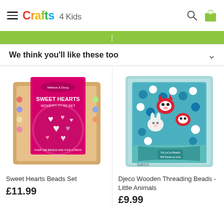Crafts 4 Kids
We think you'll like these too
[Figure (photo): Sweet Hearts Wooden Bead Set product box by Melissa & Doug - pink box with heart-shaped beads displayed in a wooden tray]
Sweet Hearts Beads Set
£11.99
[Figure (photo): Djeco Wooden Threading Beads - Little Animals product box - light blue box with animal-themed wooden beads]
Djeco Wooden Threading Beads - Little Animals
£9.99